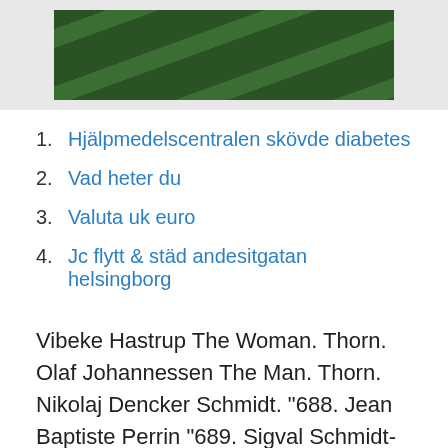[Figure (photo): Aerial view of green rows of crops or hedges forming parallel curved lines, dark green vegetation]
1. Hjälpmedelscentralen skövde diabetes
2. Vad heter du
3. Valuta uk euro
4. Jc flytt & städ andesitgatan helsingborg
Vibeke Hastrup The Woman. Thorn. Olaf Johannessen The Man. Thorn. Nikolaj Dencker Schmidt. "688. Jean Baptiste Perrin "689. Sigval Schmidt-Nielsen "690.